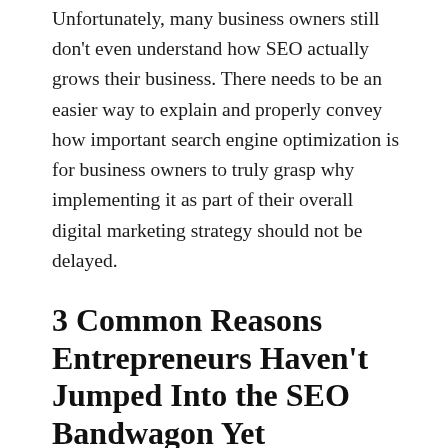Unfortunately, many business owners still don't even understand how SEO actually grows their business. There needs to be an easier way to explain and properly convey how important search engine optimization is for business owners to truly grasp why implementing it as part of their overall digital marketing strategy should not be delayed.
3 Common Reasons Entrepreneurs Haven't Jumped Into the SEO Bandwagon Yet
Before we tackle the reasons why delaying SEO is unfavorable, we should first point out the reasons